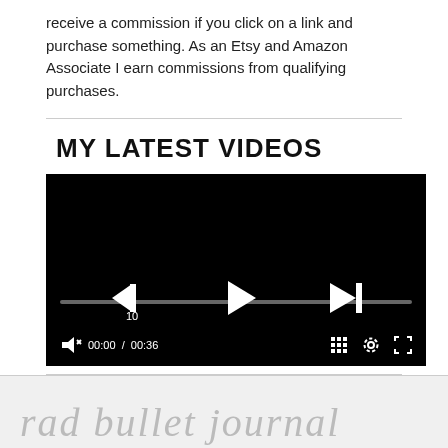receive a commission if you click on a link and purchase something. As an Etsy and Amazon Associate I earn commissions from qualifying purchases.
MY LATEST VIDEOS
[Figure (screenshot): Video player showing a black screen with playback controls: rewind 10s button, play button, next track button, a progress bar showing 00:00 / 00:36, mute button, playlist grid button, settings gear, and fullscreen expand button.]
rad bullet journal